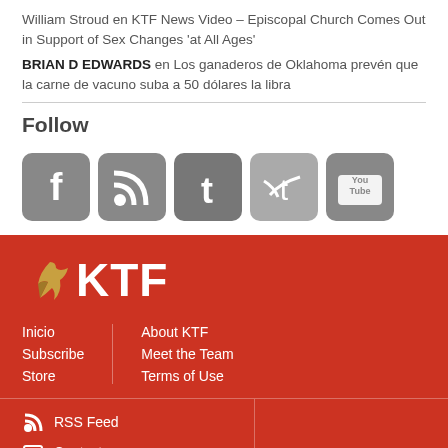William Stroud en KTF News Video – Episcopal Church Comes Out in Support of Sex Changes 'at All Ages'
BRIAN D EDWARDS en Los ganaderos de Oklahoma prevén que la carne de vacuno suba a 50 dólares la libra
Follow
[Figure (other): Social media icons: Facebook, RSS, Tumblr, Twitter, YouTube]
[Figure (logo): KTF logo with bird on red background]
Inicio
Subscribe
Store
About KTF
Meet the Team
Terms of Use
RSS Feed
Contact
top ▲